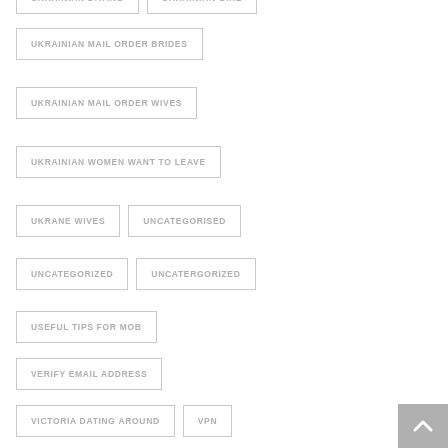UKRAINIAN DATING
UKRAINIAN GIRL
UKRAINIAN MAIL ORDER BRIDES
UKRAINIAN MAIL ORDER WIVES
UKRAINIAN WOMEN WANT TO LEAVE
UKRANE WIVES
UNCATEGORISED
UNCATEGORIZED
UNCATERGORIZED
USEFUL TIPS FOR MOB
VERIFY EMAIL ADDRESS
VICTORIA DATING AROUND
VPN
WEBCAM FREE GIRLS